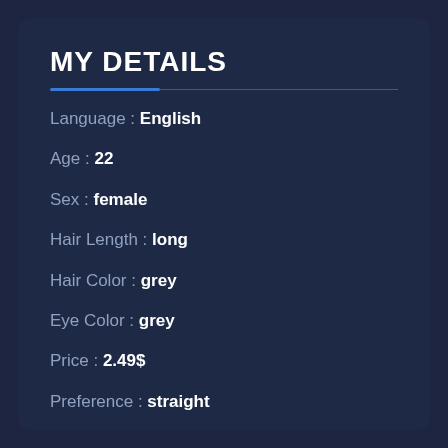MY DETAILS
Language : English
Age : 22
Sex : female
Hair Length : long
Hair Color : grey
Eye Color : grey
Price : 2.49$
Preference : straight